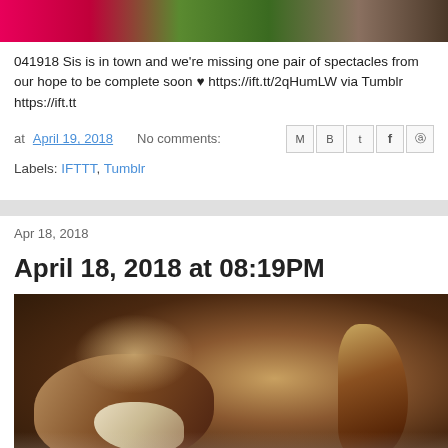[Figure (photo): Partial photo strip showing pink/red and green colors at top of page]
041918 Sis is in town and we're missing one pair of spectacles from our hope to be complete soon ♥ https://ift.tt/2qHumLW via Tumblr https://ift.tt
at April 19, 2018   No comments:
Labels: IFTTT, Tumblr
Apr 18, 2018
April 18, 2018 at 08:19PM
[Figure (photo): Close-up photo of spiral sea shells (conch/whelk type) on a white plate, brown and cream colored]